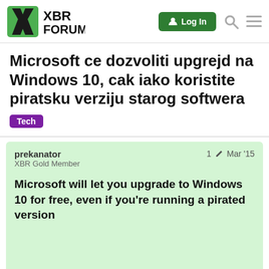XBR Forum — Log In
Microsoft ce dozvoliti upgrejd na Windows 10, cak iako koristite piratsku verziju starog softwera
Tech
prekanator
XBR Gold Member
1 ✏ Mar '15
Microsoft will let you upgrade to Windows 10 for free, even if you're running a pirated version
1 / 7